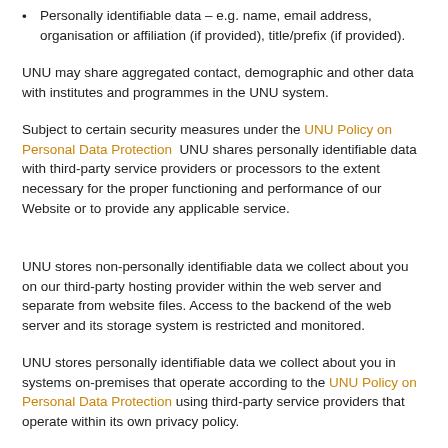Personally identifiable data – e.g. name, email address, organisation or affiliation (if provided), title/prefix (if provided).
UNU may share aggregated contact, demographic and other data with institutes and programmes in the UNU system.
Subject to certain security measures under the UNU Policy on Personal Data Protection  UNU shares personally identifiable data with third-party service providers or processors to the extent necessary for the proper functioning and performance of our Website or to provide any applicable service.
UNU stores non-personally identifiable data we collect about you on our third-party hosting provider within the web server and separate from website files. Access to the backend of the web server and its storage system is restricted and monitored.
UNU stores personally identifiable data we collect about you in systems on-premises that operate according to the UNU Policy on Personal Data Protection using third-party service providers that operate within its own privacy policy.